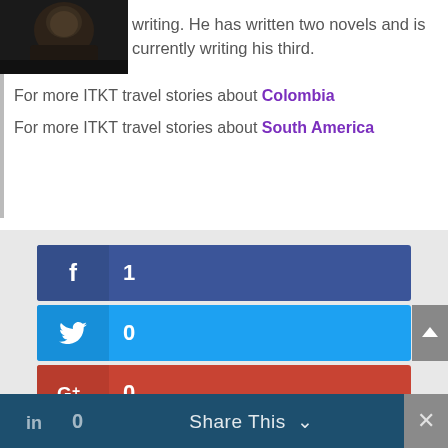[Figure (photo): Dark photo of a person, partially visible at top left]
writing. He has written two novels and is currently writing his third.
For more ITKT travel stories about Colombia
For more ITKT travel stories about South America
[Figure (infographic): Facebook share button with count 1]
[Figure (infographic): Twitter share button with count 0]
[Figure (infographic): Google+ share button with count 0]
[Figure (infographic): Pinterest share button with count 1]
[Figure (infographic): LinkedIn share bar with count 0 and Share This button]